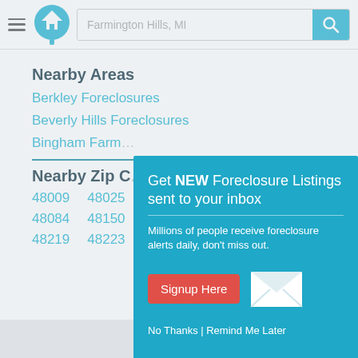Farmington Hills, MI — search bar header
Nearby Areas
Berkley Foreclosures
Beverly Hills Foreclosures
Bingham Farm...
Nearby Zip C...
48009  48025
48084  48150
48219  48223
[Figure (screenshot): Popup overlay: Get NEW Foreclosure Listings sent to your inbox. Millions of people receive foreclosure alerts daily, don't miss out. Signup Here button. No Thanks | Remind Me Later links. White envelope icon.]
Footer with logo icon